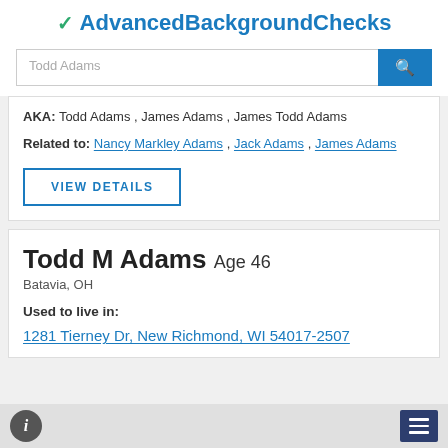AdvancedBackgroundChecks
Todd Adams (search input placeholder)
AKA: Todd Adams , James Adams , James Todd Adams
Related to: Nancy Markley Adams , Jack Adams , James Adams
VIEW DETAILS
Todd M Adams Age 46
Batavia, OH
Used to live in:
1281 Tierney Dr, New Richmond, WI 54017-2507